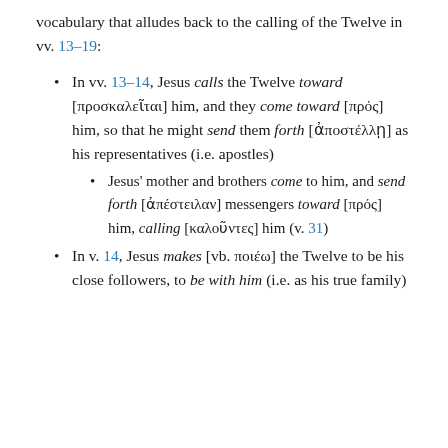vocabulary that alludes back to the calling of the Twelve in vv. 13–19:
In vv. 13–14, Jesus calls the Twelve toward [προσκαλεῖται] him, and they come toward [πρός] him, so that he might send them forth [ἀποστέλλῃ] as his representatives (i.e. apostles)
Jesus' mother and brothers come to him, and send forth [ἀπέστειλαν] messengers toward [πρός] him, calling [καλοῦντες] him (v. 31)
In v. 14, Jesus makes [vb. ποιέω] the Twelve to be his close followers, to be with him (i.e. as his true family)